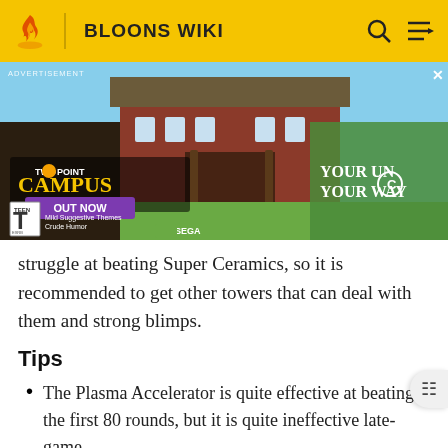BLOONS WIKI
[Figure (photo): Advertisement banner for Two Point Campus video game showing animated characters in front of a university building, with 'OUT NOW' text, ESRB Teen rating, Sega branding, and 'YOUR UNIVERSITY YOUR WAY' tagline]
struggle at beating Super Ceramics, so it is recommended to get other towers that can deal with them and strong blimps.
Tips
The Plasma Accelerator is quite effective at beating the first 80 rounds, but it is quite ineffective late-game.
Note that for it to fully be used for these 80